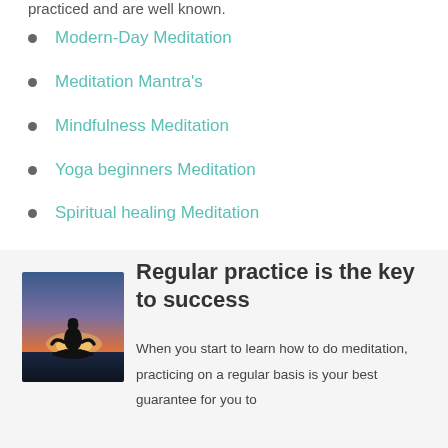practiced and are well known.
Modern-Day Meditation
Meditation Mantra's
Mindfulness Meditation
Yoga beginners Meditation
Spiritual healing Meditation
Regular practice is the key to success
[Figure (photo): Silhouette of a person meditating in lotus position against a sunset sky]
When you start to learn how to do meditation, practicing on a regular basis is your best guarantee for you to